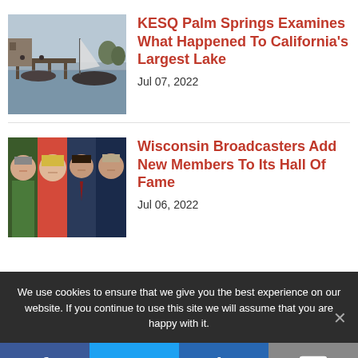[Figure (photo): Black and white photo of boats on a lake with a dock and sailboat]
KESQ Palm Springs Examines What Happened To California's Largest Lake
Jul 07, 2022
[Figure (photo): Group photo of four broadcast journalists: two men and two women]
Wisconsin Broadcasters Add New Members To Its Hall Of Fame
Jul 06, 2022
We use cookies to ensure that we give you the best experience on our website. If you continue to use this site we will assume that you are happy with it.
[Figure (infographic): Social sharing bar with Facebook, Twitter, LinkedIn, and email icons]